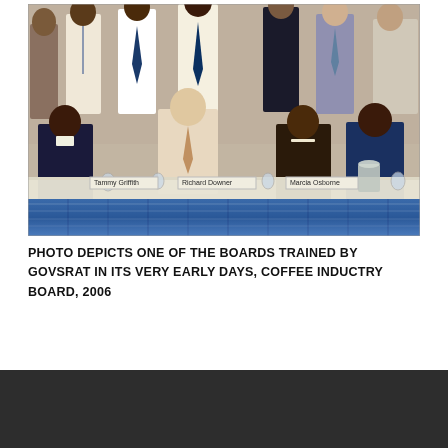[Figure (photo): Group photo of board members seated at a conference table with blue skirting. Name placards visible for Tammy Griffith, Richard Downer, and Marcia Osborne. Additional people standing in the background.]
PHOTO DEPICTS ONE OF THE BOARDS TRAINED BY GOVSRAT IN ITS VERY EARLY DAYS, COFFEE INDUCTRY BOARD, 2006